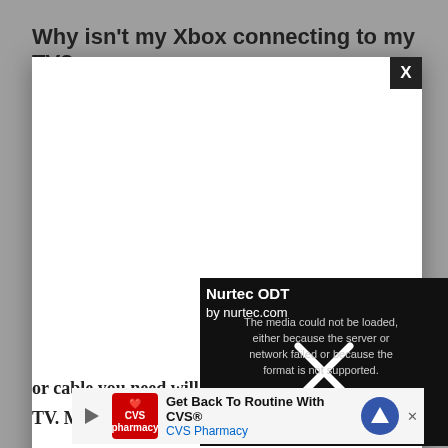Why isn't my Xbox connecting to my TV?
The reason for this page may not if your Xbox isn't
[Figure (screenshot): A modal dialog with a white box overlaying a grayed-out article page. The modal has a black X close button in the top-right corner. Inside the modal area (bottom half) is a black video player box showing an error: 'The media could not be loaded, either because the server or network failed or because the format is not supported.' with a large X icon overlay. The video is labeled 'Nurtec ODT' from 'by nurtec.com'. A secondary circular X close button appears to the right of the modal.]
or cable you need will
TV. Make sure to use an
HDM
[Figure (screenshot): CVS Pharmacy advertisement banner reading 'Get Back To Routine With CVS®' with CVS Pharmacy logo and navigation icon]